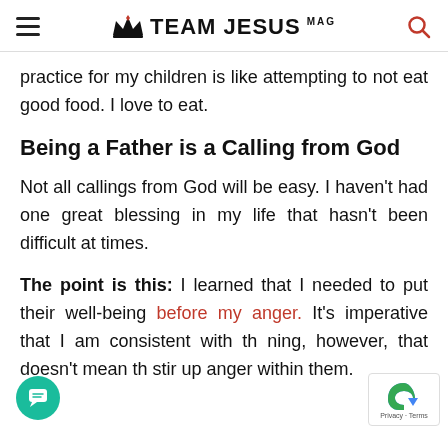TEAM JESUS MAG
practice for my children is like attempting to not eat good food. I love to eat.
Being a Father is a Calling from God
Not all callings from God will be easy. I haven't had one great blessing in my life that hasn't been difficult at times.
The point is this: I learned that I needed to put their well-being before my anger. It's imperative that I am consistent with th ning, however, that doesn't mean th stir up anger within them.